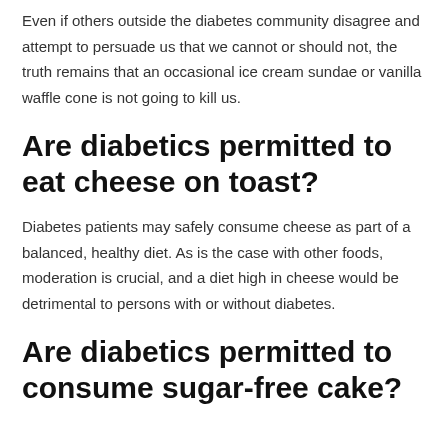Even if others outside the diabetes community disagree and attempt to persuade us that we cannot or should not, the truth remains that an occasional ice cream sundae or vanilla waffle cone is not going to kill us.
Are diabetics permitted to eat cheese on toast?
Diabetes patients may safely consume cheese as part of a balanced, healthy diet. As is the case with other foods, moderation is crucial, and a diet high in cheese would be detrimental to persons with or without diabetes.
Are diabetics permitted to consume sugar-free cake?